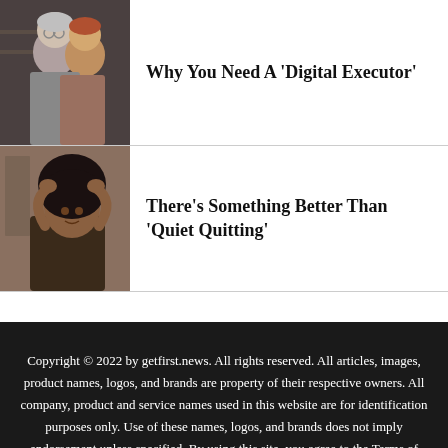[Figure (photo): Two people looking at something together, one with gray hair and glasses]
Why You Need A 'Digital Executor'
[Figure (photo): Woman with hands on her head, looking stressed]
There’s Something Better Than ‘Quiet Quitting’
Copyright © 2022 by getfirst.news. All rights reserved. All articles, images, product names, logos, and brands are property of their respective owners. All company, product and service names used in this website are for identification purposes only. Use of these names, logos, and brands does not imply endorsement unless specified. By using this site, you agree to the Terms of Use and Privacy Policy.
About   Privacy Policy   Terms of Use   Unsubscribing